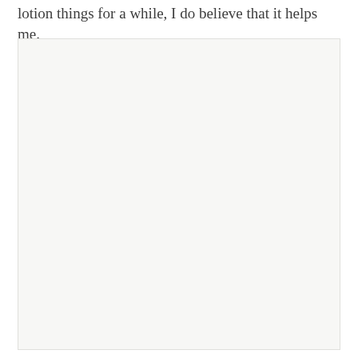lotion things for a while, I do believe that it helps me.
[Figure (photo): Large light gray/white rectangular image placeholder occupying most of the lower portion of the page]